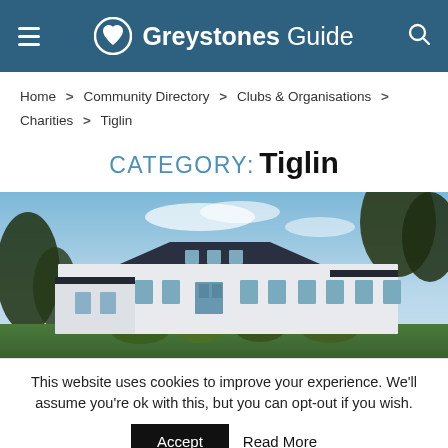Greystones Guide
Home > Community Directory > Clubs & Organisations > Charities > Tiglin
CATEGORY: Tiglin
[Figure (photo): Exterior photo of the Tiglin building — a modern white two-storey structure with dark slate roof, multiple windows, surrounded by trees and greenery under a blue sky.]
This website uses cookies to improve your experience. We'll assume you're ok with this, but you can opt-out if you wish.